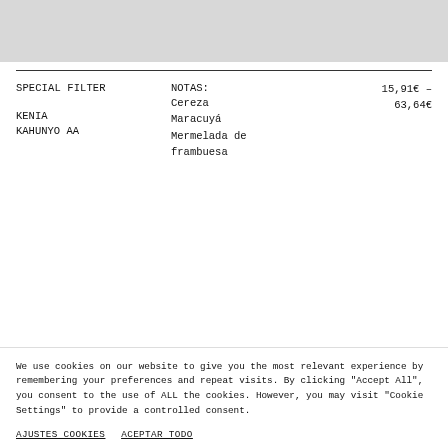[Figure (other): Gray placeholder image at top of page]
SPECIAL FILTER
NOTAS:
Cereza
Maracuyá
Mermelada de frambuesa
15,91€ –
63,64€
KENIA
KAHUNYO AA
We use cookies on our website to give you the most relevant experience by remembering your preferences and repeat visits. By clicking "Accept All", you consent to the use of ALL the cookies. However, you may visit "Cookie Settings" to provide a controlled consent.
AJUSTES COOKIES   ACEPTAR TODO